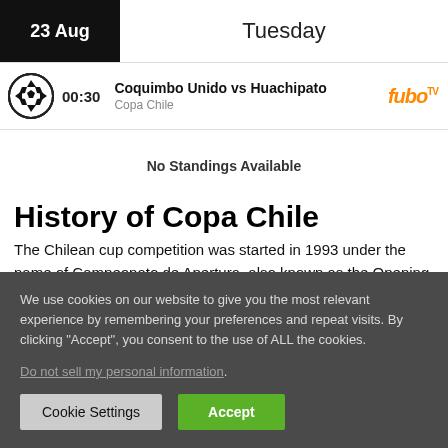23 Aug  Tuesday
00:30  Coquimbo Unido vs Huachipato  Copa Chile
No Standings Available
History of Copa Chile
The Chilean cup competition was started in 1993 under the name of Campeonato de Apertura, also known as the Opening
We use cookies on our website to give you the most relevant experience by remembering your preferences and repeat visits. By clicking "Accept", you consent to the use of ALL the cookies.
Do not sell my personal information.